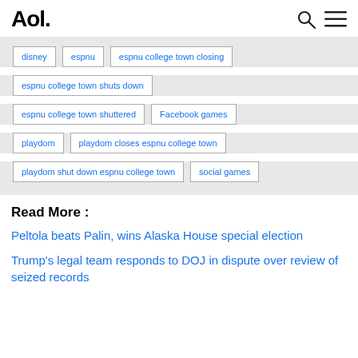Aol.
disney
espnu
espnu college town closing
espnu college town shuts down
espnu college town shuttered
Facebook games
playdom
playdom closes espnu college town
playdom shut down espnu college town
social games
Read More :
Peltola beats Palin, wins Alaska House special election
Trump's legal team responds to DOJ in dispute over review of seized records